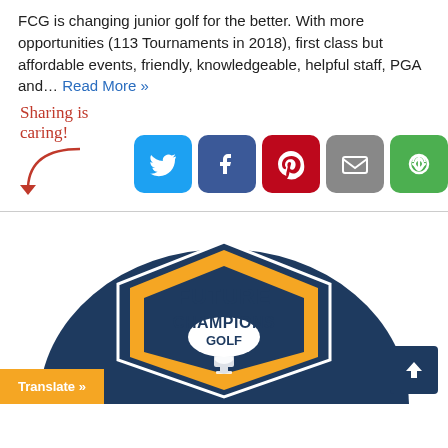FCG is changing junior golf for the better. With more opportunities (113 Tournaments in 2018), first class but affordable events, friendly, knowledgeable, helpful staff, PGA and… Read More »
[Figure (infographic): Sharing is caring social share buttons: Twitter, Facebook, Pinterest, Email, and a share/recycle icon. With a handwritten 'Sharing is caring!' label and red arrow pointing to the buttons.]
[Figure (logo): Future Champions Golf logo — a shield shape in navy blue and orange with 'FUTURE CHAMPIONS GOLF' text and a trophy icon.]